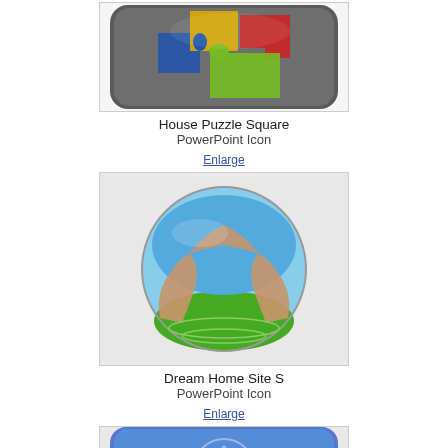[Figure (illustration): House Puzzle Square PowerPoint Icon — colorful puzzle pieces forming a house shape on a dark rounded square background]
House Puzzle Square
PowerPoint Icon
Enlarge
[Figure (illustration): Dream Home Site S PowerPoint Icon — hands forming a house shape over a green landscape sphere]
Dream Home Site S
PowerPoint Icon
Enlarge
[Figure (illustration): Third PowerPoint Icon — partially visible, shows a house with blue sky background on a rounded square]